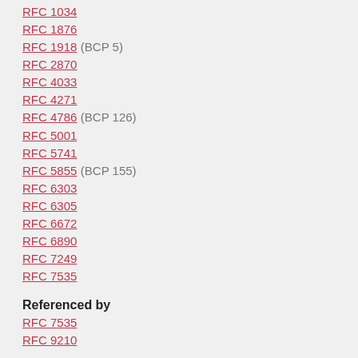RFC 1034
RFC 1876
RFC 1918 (BCP 5)
RFC 2870
RFC 4033
RFC 4271
RFC 4786 (BCP 126)
RFC 5001
RFC 5741
RFC 5855 (BCP 155)
RFC 6303
RFC 6305
RFC 6672
RFC 6890
RFC 7249
RFC 7535
Referenced by
RFC 7535
RFC 9210